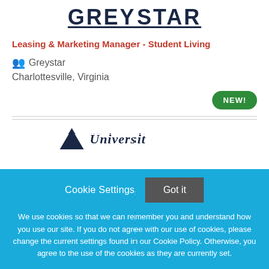[Figure (logo): GREYSTAR logo text with underline in dark navy color]
Leasing & Marketing Manager - Student Living
Greystar
Charlottesville, Virginia
NEW!
[Figure (logo): Partial university logo with triangle icon and partial italic text starting with 'Universit']
Cookie Settings  Got it
We use cookies so that we can remember you and understand how you use our site. If you do not agree with our use of cookies, please change the current settings found in our Cookie Policy. Otherwise, you agree to the use of the cookies as they are currently set.